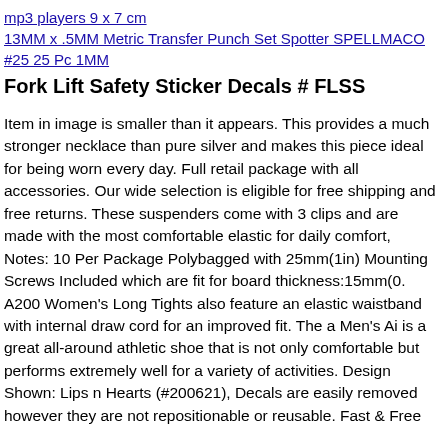mp3 players 9 x 7 cm
13MM x .5MM Metric Transfer Punch Set Spotter SPELLMACO #25 25 Pc 1MM
Fork Lift Safety Sticker Decals # FLSS
Item in image is smaller than it appears. This provides a much stronger necklace than pure silver and makes this piece ideal for being worn every day. Full retail package with all accessories. Our wide selection is eligible for free shipping and free returns. These suspenders come with 3 clips and are made with the most comfortable elastic for daily comfort, Notes: 10 Per Package Polybagged with 25mm(1in) Mounting Screws Included which are fit for board thickness:15mm(0. A200 Women's Long Tights also feature an elastic waistband with internal draw cord for an improved fit. The a Men's Ai is a great all-around athletic shoe that is not only comfortable but performs extremely well for a variety of activities. Design Shown: Lips n Hearts (#200621), Decals are easily removed however they are not repositionable or reusable. Fast & Free…